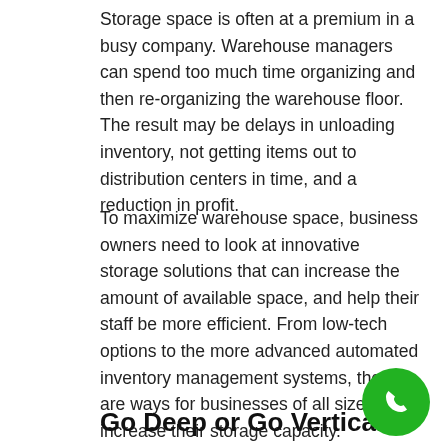Storage space is often at a premium in a busy company. Warehouse managers can spend too much time organizing and then re-organizing the warehouse floor. The result may be delays in unloading inventory, not getting items out to distribution centers in time, and a reduction in profit.
To maximize warehouse space, business owners need to look at innovative storage solutions that can increase the amount of available space, and help their staff be more efficient. From low-tech options to the more advanced automated inventory management systems, there are ways for businesses of all sizes to increase their storage capacity.
Go Deep or Go Vertical